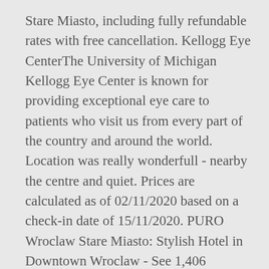Stare Miasto, including fully refundable rates with free cancellation. Kellogg Eye CenterThe University of Michigan Kellogg Eye Center is known for providing exceptional eye care to patients who visit us from every part of the country and around the world. Location was really wonderfull - nearby the centre and quiet. Prices are calculated as of 02/11/2020 based on a check-in date of 15/11/2020. PURO Wroclaw Stare Miasto: Stylish Hotel in Downtown Wroclaw - See 1,406 traveler reviews, 537 candid photos, and great deals for PURO Wroclaw Stare Miasto at Tripadvisor. 4 HOTEL INFO stars 30% discount with business rate Cancellation is free of charge